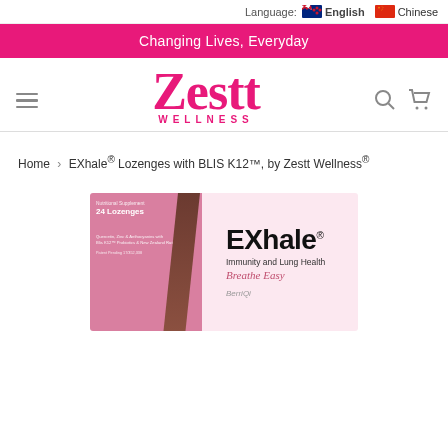Language: English Chinese
Changing Lives, Everyday
[Figure (logo): Zestt Wellness logo in pink with hamburger menu icon on left and search/cart icons on right]
Home › EXhale® Lozenges with BLIS K12™, by Zestt Wellness®
[Figure (photo): EXhale® Lozenges product box — pink background with text: Nutritional Supplement, 24 Lozenges, EXhale®, Immunity and Lung Health, Breathe Easy, Quercetin, Zinc & Anthocyanins with Blis K12™ Probiotics & New Zealand Rata Honey, Patent Pending 17/352,338, BerriQi]